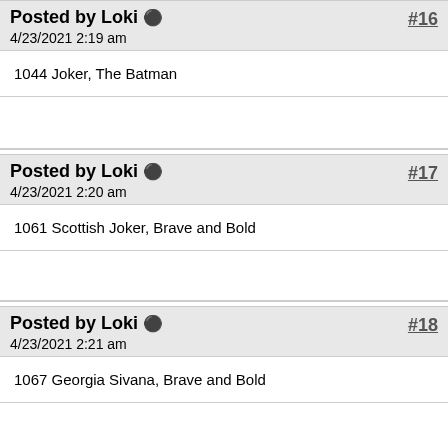Posted by Loki  4/23/2021 2:19 am  #16
1044 Joker, The Batman
Posted by Loki  4/23/2021 2:20 am  #17
1061 Scottish Joker, Brave and Bold
Posted by Loki  4/23/2021 2:21 am  #18
1067 Georgia Sivana, Brave and Bold